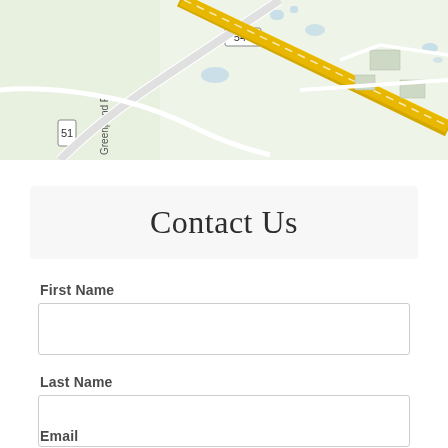[Figure (map): Street map showing road 544, green areas, a yellow diagonal highway/road, and text labels including 'Greenpond F' on the left side. Blue water features visible.]
Contact Us
First Name
Last Name
Email